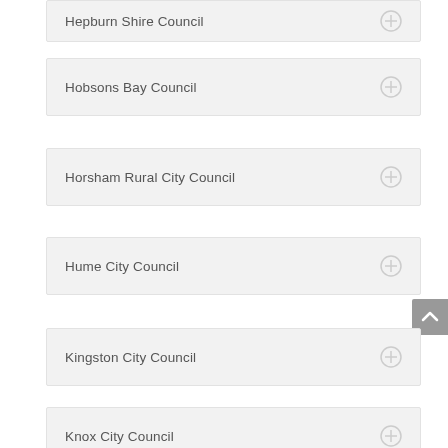Hepburn Shire Council
Hobsons Bay Council
Horsham Rural City Council
Hume City Council
Kingston City Council
Knox City Council